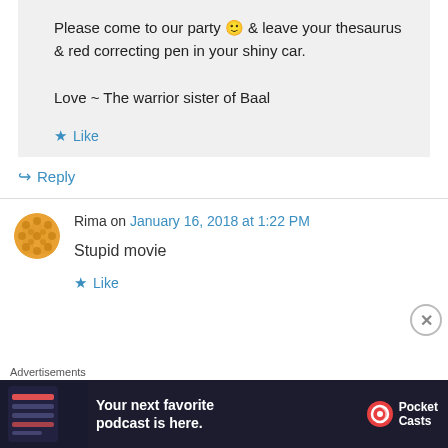Please come to our party 🙂 & leave your thesaurus & red correcting pen in your shiny car.

Love ~ The warrior sister of Baal
Like
Reply
Rima on January 16, 2018 at 1:22 PM
Stupid movie
Like
Advertisements
Your next favorite podcast is here.
Pocket Casts